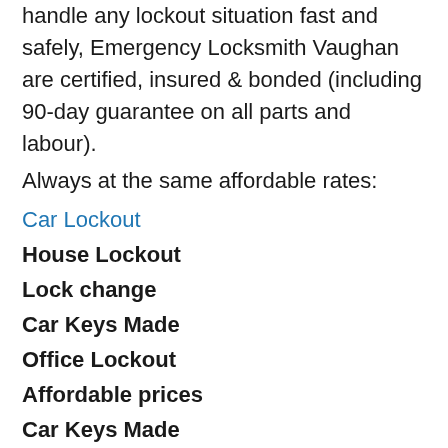handle any lockout situation fast and safely, Emergency Locksmith Vaughan are certified, insured & bonded (including 90-day guarantee on all parts and labour).
Always at the same affordable rates:
Car Lockout
House Lockout
Lock change
Car Keys Made
Office Lockout
Affordable prices
Car Keys Made